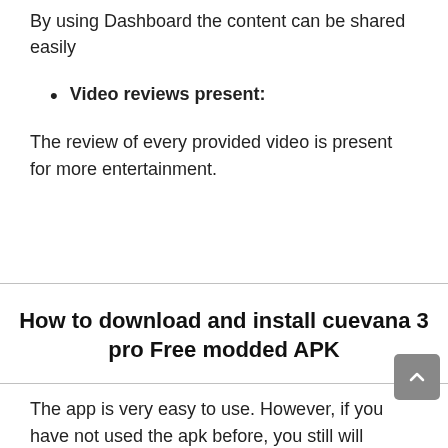By using Dashboard the content can be shared easily
Video reviews present:
The review of every provided video is present for more entertainment.
How to download and install cuevana 3 pro Free modded APK
The app is very easy to use. However, if you have not used the apk before, you still will